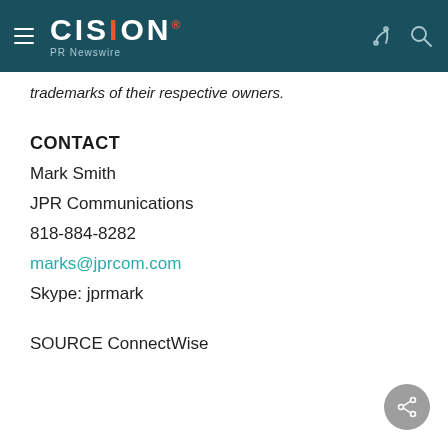CISION PR Newswire
trademarks of their respective owners.
CONTACT
Mark Smith
JPR Communications
818-884-8282
marks@jprcom.com
Skype: jprmark
SOURCE ConnectWise